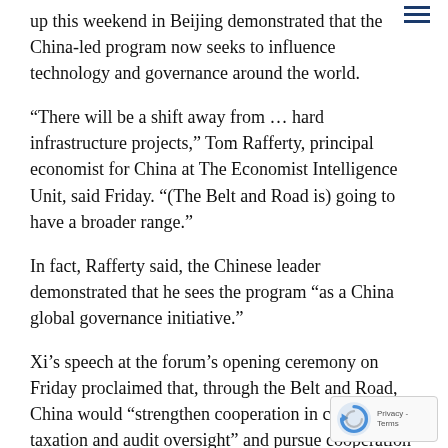up this weekend in Beijing demonstrated that the China-led program now seeks to influence technology and governance around the world.
“There will be a shift away from … hard infrastructure projects,” Tom Rafferty, principal economist for China at The Economist Intelligence Unit, said Friday. “(The Belt and Road is) going to have a broader range.”
In fact, Rafferty said, the Chinese leader demonstrated that he sees the program “as a China global governance initiative.”
Xi’s speech at the forum’s opening ceremony on Friday proclaimed that, through the Belt and Road, China would “strengthen cooperation in customs, taxation and audit oversight” and pursue cooperation on technological development.